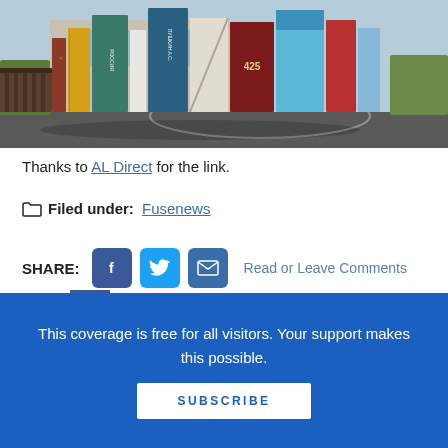[Figure (photo): Outdoor photo of building facades decorated as giant colorful book spines, including titles in Russian (Pushkin A.S., etc.), with a road/parking lot in the foreground.]
Thanks to AL Direct for the link.
Filed under: Fusenews
SHARE: [Facebook] [Twitter] [Email] Read or Leave Comments
This coverage is free for all visitors. Your support makes this possible.
SUBSCRIBE